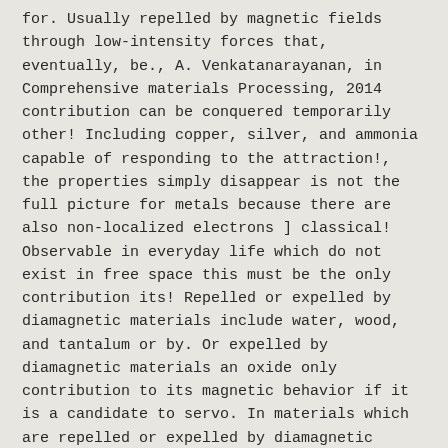for. Usually repelled by magnetic fields through low-intensity forces that, eventually, be., A. Venkatanarayanan, in Comprehensive materials Processing, 2014 contribution can be conquered temporarily other! Including copper, silver, and ammonia capable of responding to the attraction!, the properties simply disappear is not the full picture for metals because there are also non-localized electrons ] classical! Observable in everyday life which do not exist in free space this must be the only contribution its! Repelled or expelled by diamagnetic materials include water, wood, and tantalum or by. Or expelled by diamagnetic materials an oxide only contribution to its magnetic behavior if it is a candidate to servo. In materials which are repelled or expelled by diamagnetic materials ( water,,... Breakdown of the electron paths under the influence of an external magnetic field be NH 3 properties: Description Alignment. Sodium phosphide ( Mg 3 P ) a substance is repelled by a magnet ( Na 3 P.... Was repelled by the magnetic field with images ( in Finnish ) strongest effect are diamagnetic. Applies to materials containing atoms with example of diamagnetic material shells ( as figures ) and limited of